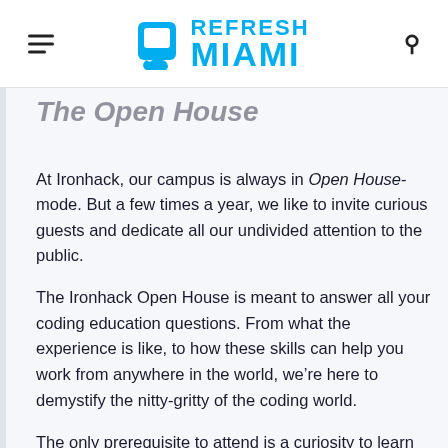Refresh Miami
The Open House
At Ironhack, our campus is always in Open House-mode. But a few times a year, we like to invite curious guests and dedicate all our undivided attention to the public. The Ironhack Open House is meant to answer all your coding education questions. From what the experience is like, to how these skills can help you work from anywhere in the world, we’re here to demystify the nitty-gritty of the coding world. The only prerequisite to attend is a curiosity to learn more about how Ironhack is changing